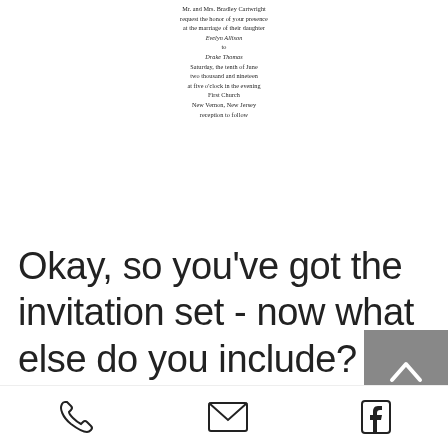[Figure (illustration): Wedding invitation card text centered near top of page: 'Mr. and Mrs. Bradley Cartwright request the honor of your presence at the marriage of their daughter Evelyn Allison to Drake Thomas Saturday, the tenth of June two thousand and nineteen at five o'clock in the evening First Church New Vernon, New Jersey reception to follow']
Okay, so you've got the invitation set - now what else do you include? Your invitation suite can be as simple or complex as you please! This is YOUR wedding! Typically though, you will want to at least include an RSVP card. This card can be something your guests
[Figure (other): Dark grey scroll-to-top button with upward chevron arrow icon]
Phone icon | Email icon | Facebook icon